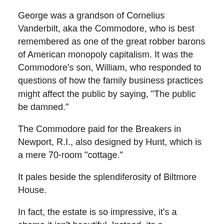George was a grandson of Cornelius Vanderbilt, aka the Commodore, who is best remembered as one of the great robber barons of American monopoly capitalism. It was the Commodore's son, William, who responded to questions of how the family business practices might affect the public by saying, "The public be damned."
The Commodore paid for the Breakers in Newport, R.I., also designed by Hunt, which is a mere 70-room "cottage."
It pales beside the splendiferosity of Biltmore House.
In fact, the estate is so impressive, it's a shame it isn't beautiful. Instead, its a hodgepodge of architectural styles, each displayed with the same aesthetic care as the collected artwork, which is often hidden behind furniture.